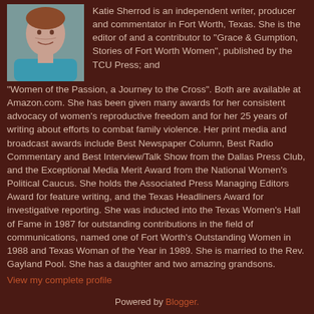[Figure (photo): Headshot photo of Katie Sherrod, a woman with short hair wearing a teal/blue top, against a neutral background.]
Katie Sherrod is an independent writer, producer and commentator in Fort Worth, Texas. She is the editor of and a contributor to "Grace & Gumption, Stories of Fort Worth Women", published by the TCU Press; and "Women of the Passion, a Journey to the Cross". Both are available at Amazon.com. She has been given many awards for her consistent advocacy of women's reproductive freedom and for her 25 years of writing about efforts to combat family violence. Her print media and broadcast awards include Best Newspaper Column, Best Radio Commentary and Best Interview/Talk Show from the Dallas Press Club, and the Exceptional Media Merit Award from the National Women's Political Caucus. She holds the Associated Press Managing Editors Award for feature writing, and the Texas Headliners Award for investigative reporting. She was inducted into the Texas Women's Hall of Fame in 1987 for outstanding contributions in the field of communications, named one of Fort Worth's Outstanding Women in 1988 and Texas Woman of the Year in 1989. She is married to the Rev. Gayland Pool. She has a daughter and two amazing grandsons.
View my complete profile
Powered by Blogger.